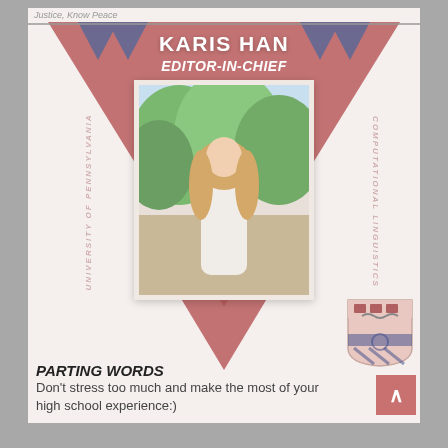Justice, Know Peace
KARIS HAN
EDITOR-IN-CHIEF
[Figure (photo): Portrait photo of Karis Han outdoors with green trees in the background, wearing a white top with long light-colored hair]
UNIVERSITY OF PENNSYLVANIA
COMPUTATIONAL LINGUISTICS
PARTING WORDS
Don't stress too much and make the most of your high school experience:)
[Figure (logo): University of Pennsylvania shield/crest logo in rose and navy colors]